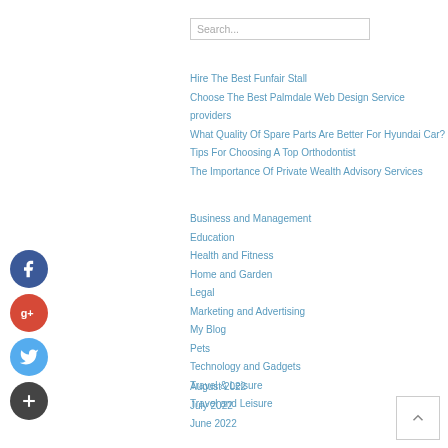Search...
Hire The Best Funfair Stall
Choose The Best Palmdale Web Design Service providers
What Quality Of Spare Parts Are Better For Hyundai Car?
Tips For Choosing A Top Orthodontist
The Importance Of Private Wealth Advisory Services
Business and Management
Education
Health and Fitness
Home and Garden
Legal
Marketing and Advertising
My Blog
Pets
Technology and Gadgets
Travel & Leisure
Travel and Leisure
[Figure (illustration): Social media icons: Facebook (blue), Google+ (red), Twitter (blue), Plus (dark)]
August 2022
July 2022
June 2022